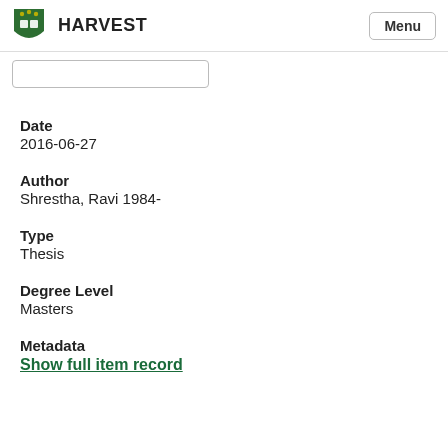HARVEST  Menu
Date
2016-06-27
Author
Shrestha, Ravi 1984-
Type
Thesis
Degree Level
Masters
Metadata
Show full item record